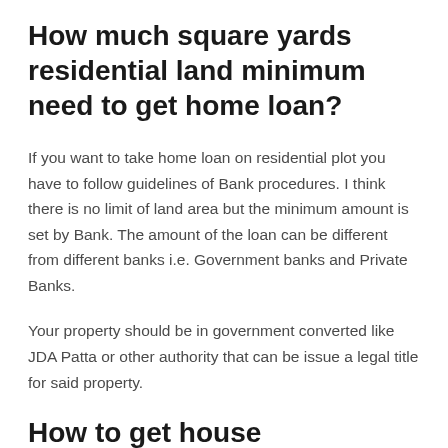How much square yards residential land minimum need to get home loan?
If you want to take home loan on residential plot you have to follow guidelines of Bank procedures. I think there is no limit of land area but the minimum amount is set by Bank. The amount of the loan can be different from different banks i.e. Government banks and Private Banks.
Your property should be in government converted like JDA Patta or other authority that can be issue a legal title for said property.
How to get house